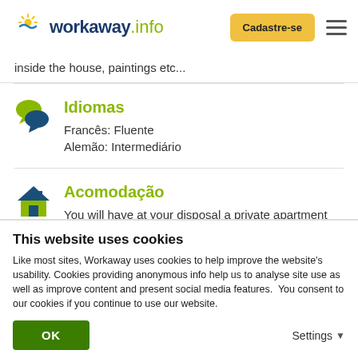workaway.info — Cadastre-se
inside the house, paintings etc...
Idiomas
Francês: Fluente
Alemão: Intermediário
Acomodação
You will have at your disposal a private apartment
This website uses cookies
Like most sites, Workaway uses cookies to help improve the website's usability. Cookies providing anonymous info help us to analyse site use as well as improve content and present social media features.  You consent to our cookies if you continue to use our website.
OK
Settings